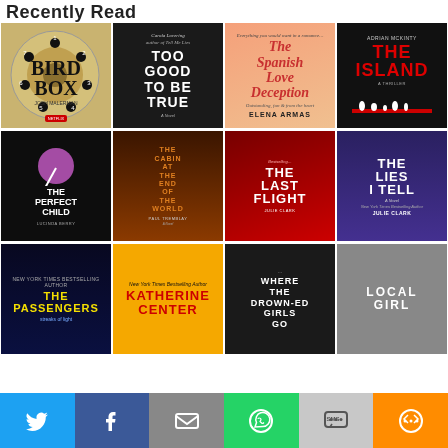Recently Read
[Figure (photo): Grid of book covers: Row 1: Bird Box by Josh Malerman, Too Good to Be True by Carola Lovering, The Spanish Love Deception by Elena Armas, The Island by Adrian McKinty. Row 2: The Perfect Child by Lucinda Berry, The Cabin at the End of the World by Paul Tremblay, The Last Flight by Julie Clark, The Lies I Tell by Julie Clark. Row 3: The Passengers, Katherine Center, Where the Drowned Girls Go, Local Girl (partially visible).]
[Figure (infographic): Social sharing bar with Twitter, Facebook, Email, WhatsApp, SMS, and More buttons]